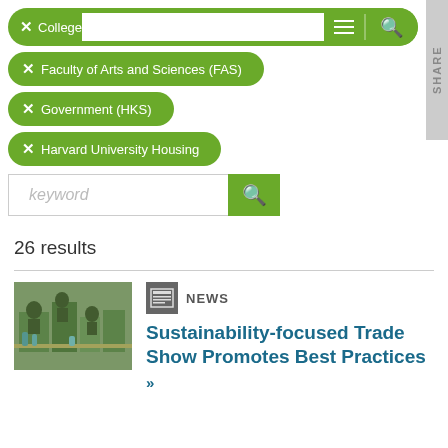✕ College
✕ Faculty of Arts and Sciences (FAS)
✕ Government (HKS)
✕ Harvard University Housing
keyword [search button]
26 results
[Figure (photo): Photo of people at a trade show/event]
NEWS
Sustainability-focused Trade Show Promotes Best Practices »